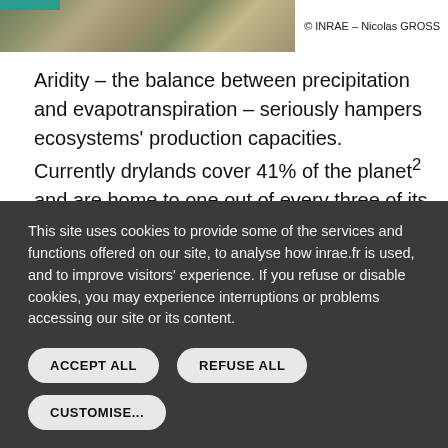[Figure (photo): Landscape/dryland terrain photo with teal accent bar in top-left corner]
© INRAE – Nicolas GROSS
Aridity – the balance between precipitation and evapotranspiration – seriously hampers ecosystems' production capacities. Currently drylands cover 41% of the planet² and are home to one out of every three of its inhabitants. Climate change scenarios predict a significant increase in aridity across the globe, which will
This site uses cookies to provide some of the services and functions offered on our site, to analyse how inrae.fr is used, and to improve visitors' experience. If you refuse or disable cookies, you may experience interruptions or problems accessing our site or its content.
ACCEPT ALL
REFUSE ALL
CUSTOMISE...